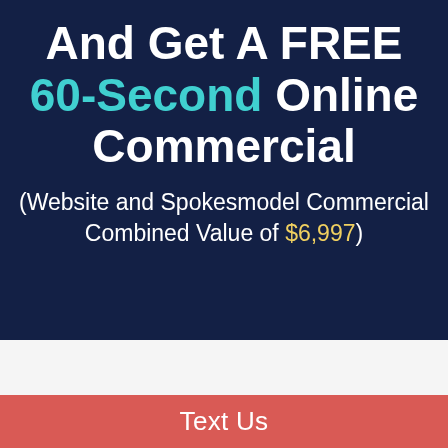And Get A FREE 60-Second Online Commercial
(Website and Spokesmodel Commercial Combined Value of $6,997)
Text Us